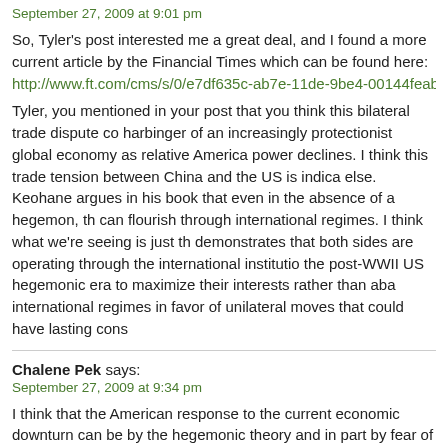September 27, 2009 at 9:01 pm
So, Tyler's post interested me a great deal, and I found a more current article by the Financial Times which can be found here: http://www.ft.com/cms/s/0/e7df635c-ab7e-11de-9be4-00144feabdc0.html?no
Tyler, you mentioned in your post that you think this bilateral trade dispute co harbinger of an increasingly protectionist global economy as relative America power declines. I think this trade tension between China and the US is indica else. Keohane argues in his book that even in the absence of a hegemon, th can flourish through international regimes. I think what we're seeing is just th demonstrates that both sides are operating through the international institutio the post-WWII US hegemonic era to maximize their interests rather than aba international regimes in favor of unilateral moves that could have lasting cons
Chalene Pek says:
September 27, 2009 at 9:34 pm
I think that the American response to the current economic downturn can be by the hegemonic theory and in part by fear of trade retaliation from other co is probably not a theory but a reason that would hold the US back from closin markets.